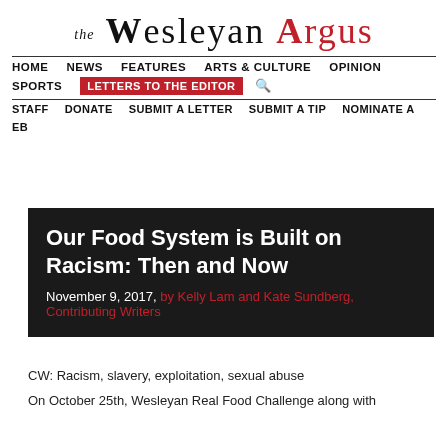THE WESLEYAN ARGUS
HOME  NEWS  FEATURES  ARTS & CULTURE  OPINION  SPORTS  LETTERS TO THE EDITOR  [search]
STAFF  DONATE  SUBMIT A LETTER  SUBMIT A TIP  NOMINATE A EB
Our Food System is Built on Racism: Then and Now
November 9, 2017, by Kelly Lam and Kate Sundberg, Contributing Writers
CW: Racism, slavery, exploitation, sexual abuse
On October 25th, Wesleyan Real Food Challenge along with